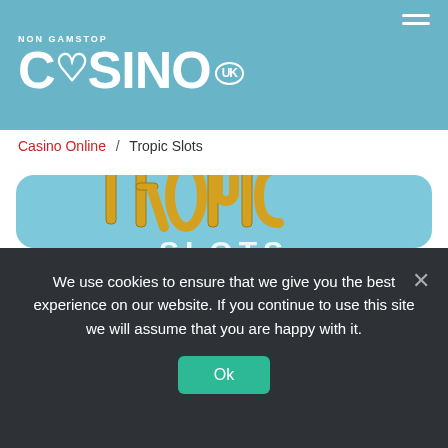NON GAMSTOP CASINO UK
Casino Online / Tropic Slots
[Figure (logo): Tropic Slots casino logo on a light blue rounded card background. The word TROPIC is in large yellow bamboo-style lettering with green tropical leaves, and SLOTS appears in large white/silver letters below.]
We use cookies to ensure that we give you the best experience on our website. If you continue to use this site we will assume that you are happy with it.